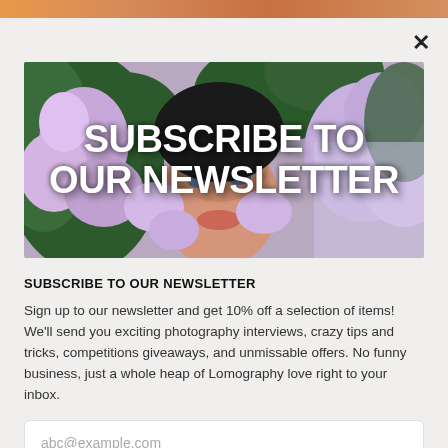[Figure (photo): Newsletter subscribe modal with photo of a person surrounded by purple flowers and bold white text overlay reading 'SUBSCRIBE TO OUR NEWSLETTER']
SUBSCRIBE TO OUR NEWSLETTER
Sign up to our newsletter and get 10% off a selection of items! We'll send you exciting photography interviews, crazy tips and tricks, competitions giveaways, and unmissable offers. No funny business, just a whole heap of Lomography love right to your inbox.
abc@example.com